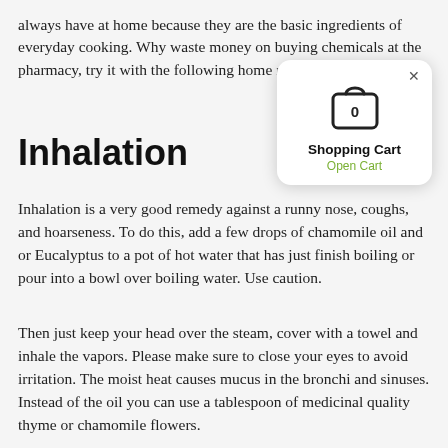always have at home because they are the basic ingredients of everyday cooking. Why waste money on buying chemicals at the pharmacy, try it with the following home remedies.
[Figure (other): Shopping Cart popup overlay with cart icon showing 0 items, label 'Shopping Cart', and green link 'Open Cart']
Inhalation
Inhalation is a very good remedy against a runny nose, coughs, and hoarseness. To do this, add a few drops of chamomile oil and or Eucalyptus to a pot of hot water that has just finish boiling or pour into a bowl over boiling water. Use caution.
Then just keep your head over the steam, cover with a towel and inhale the vapors. Please make sure to close your eyes to avoid irritation. The moist heat causes mucus in the bronchi and sinuses. Instead of the oil you can use a tablespoon of medicinal quality thyme or chamomile flowers.